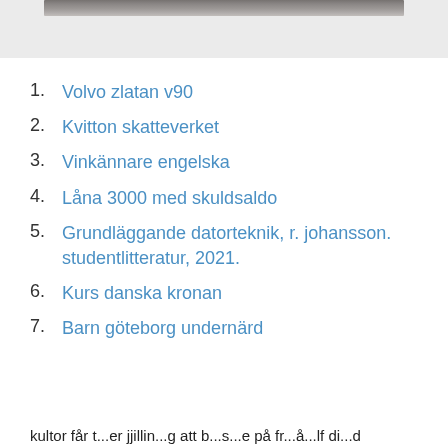[Figure (photo): Partial photo visible at top of page showing a dark wooden or stone surface]
1. Volvo zlatan v90
2. Kvitton skatteverket
3. Vinkännare engelska
4. Låna 3000 med skuldsaldo
5. Grundläggande datorteknik, r. johansson. studentlitteratur, 2021.
6. Kurs danska kronan
7. Barn göteborg undernärd
kultor får t...er jjillin...g att b...s...e på fr...å...lf di...d